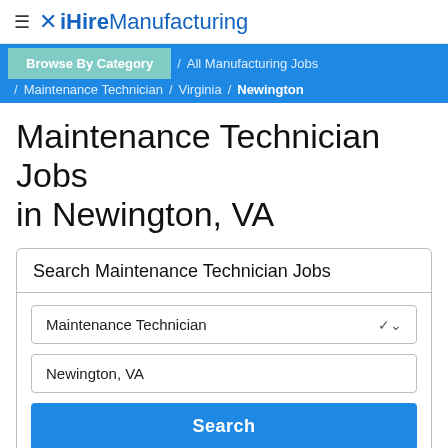≡ ✕ iHireManufacturing
Browse By Category / All Manufacturing Jobs / Maintenance Technician / Virginia / Newington
Maintenance Technician Jobs in Newington, VA
Search Maintenance Technician Jobs
Maintenance Technician [dropdown]
Newington, VA
Search